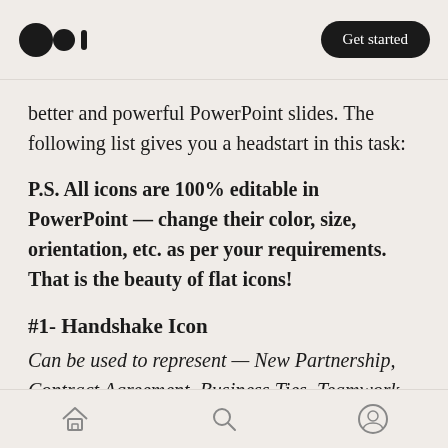Medium logo | Get started
better and powerful PowerPoint slides. The following list gives you a headstart in this task:
P.S. All icons are 100% editable in PowerPoint — change their color, size, orientation, etc. as per your requirements. That is the beauty of flat icons!
#1- Handshake Icon
Can be used to represent — New Partnership, Contract Agreement, Business Ties, Teamwork, Friendship, Loyalty, Trust, Deal, Exchange,
Home | Search | Profile